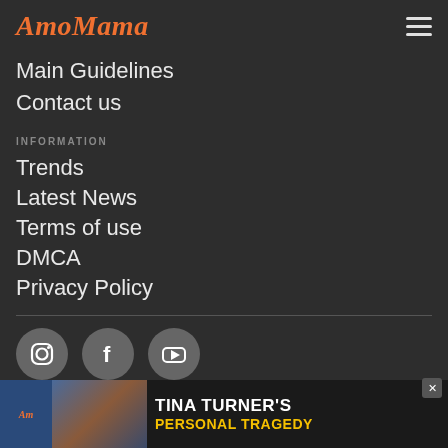AmoMama
Main Guidelines
Contact us
INFORMATION
Trends
Latest News
Terms of use
DMCA
Privacy Policy
[Figure (infographic): Social media icons: Instagram, Facebook, YouTube]
[Figure (infographic): Advertisement banner: Tina Turner's Personal Tragedy]